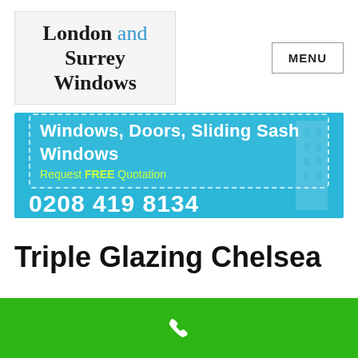[Figure (logo): London and Surrey Windows company logo — text logo with 'London and Surrey Windows' in serif font, 'and' in blue]
MENU
[Figure (infographic): Blue banner advertisement: 'Windows, Doors, Sliding Sash Windows / Request FREE Quotation 0208 419 8134']
Triple Glazing Chelsea
[Figure (illustration): Green bar with white phone handset icon]